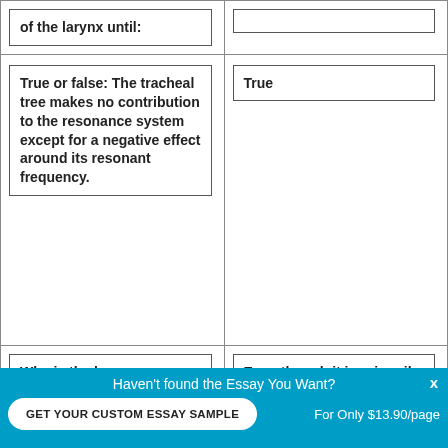| of the larynx until: |  |
| True or false: The tracheal tree makes no contribution to the resonance system except for a negative effect around its resonant frequency. | True |
| Why is the larynx considered a | Even though it is primarily a vibrator, it |
Haven't found the Essay You Want?
GET YOUR CUSTOM ESSAY SAMPLE
For Only $13.90/page